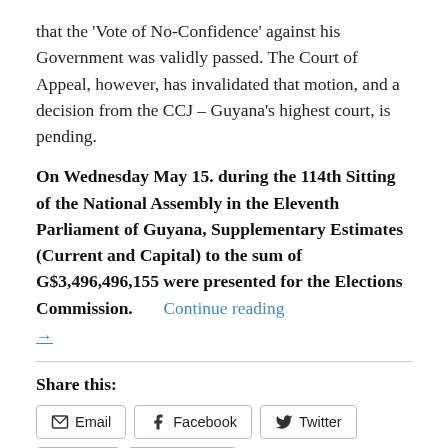that the 'Vote of No-Confidence' against his Government was validly passed. The Court of Appeal, however, has invalidated that motion, and a decision from the CCJ – Guyana's highest court, is pending.
On Wednesday May 15. during the 114th Sitting of the National Assembly in the Eleventh Parliament of Guyana, Supplementary Estimates (Current and Capital) to the sum of G$3,496,496,155 were presented for the Elections Commission. Continue reading →
Share this:
Email
Facebook
Twitter
Print
LinkedIn
Pinterest
More